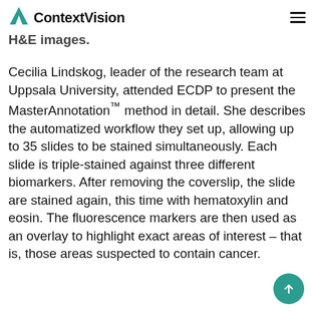ContextVision
H&E images.
Cecilia Lindskog, leader of the research team at Uppsala University, attended ECDP to present the MasterAnnotation™ method in detail. She describes the automatized workflow they set up, allowing up to 35 slides to be stained simultaneously. Each slide is triple-stained against three different biomarkers. After removing the coverslip, the slide are stained again, this time with hematoxylin and eosin. The fluorescence markers are then used as an overlay to highlight exact areas of interest – that is, those areas suspected to contain cancer.